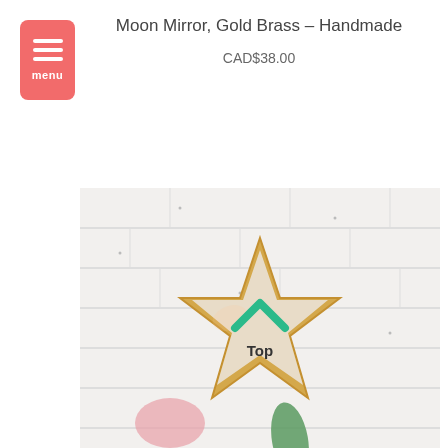[Figure (other): Red/coral hamburger menu button with three white horizontal lines and 'menu' text label below]
Moon Mirror, Gold Brass – Handmade
CAD$38.00
[Figure (photo): Photo of a gold brass star-shaped mirror against a white brick wall background, with a green chevron/up arrow and 'Top' label overlaid on the mirror surface, and a green leaf visible at the bottom]